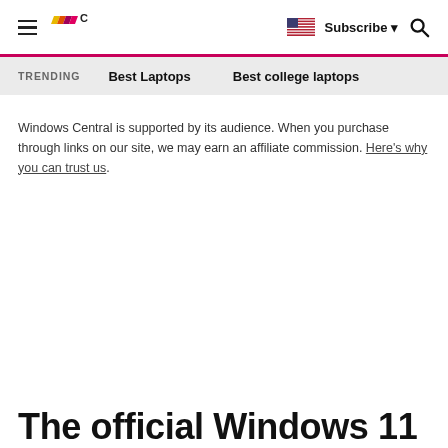Windows Central | Subscribe | Search
TRENDING   Best Laptops   Best college laptops
Windows Central is supported by its audience. When you purchase through links on our site, we may earn an affiliate commission. Here's why you can trust us.
The official Windows 11 media creation tool, ISOs, and more are